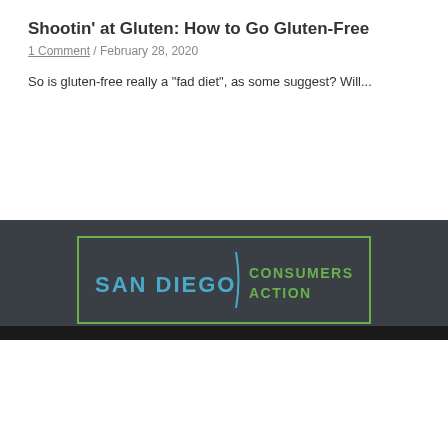Shootin' at Gluten: How to Go Gluten-Free
1 Comment / February 28, 2020
So is gluten-free really a "fad diet", as some suggest?  Will...
[Figure (logo): San Diego Consumers Action logo in a green-bordered rectangle on a dark gray background]